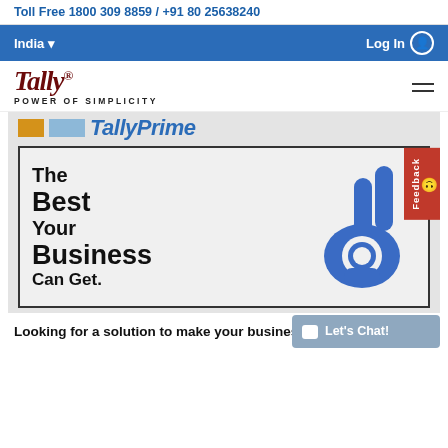Toll Free 1800 309 8859 / +91 80 25638240
India  Log In
[Figure (logo): Tally logo with tagline POWER OF SIMPLICITY]
[Figure (illustration): Tally Prime promotional banner showing 'The Best Your Business Can Get.' with a blue OK hand gesture icon]
Looking for a solution to make your business more efficient?